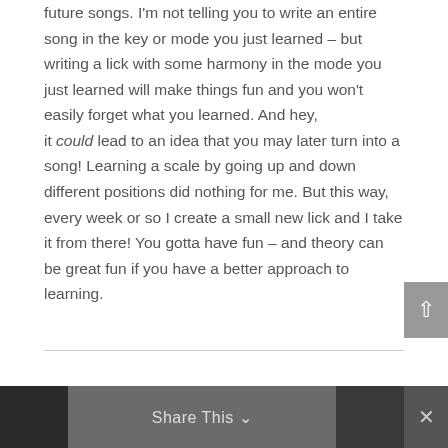future songs. I'm not telling you to write an entire song in the key or mode you just learned – but writing a lick with some harmony in the mode you just learned will make things fun and you won't easily forget what you learned. And hey, it could lead to an idea that you may later turn into a song! Learning a scale by going up and down different positions did nothing for me. But this way, every week or so I create a small new lick and I take it from there! You gotta have fun – and theory can be great fun if you have a better approach to learning.
[Figure (screenshot): Footer bar with Share This button and close (x) button on a dark grey background, with partial photos on left and right sides.]